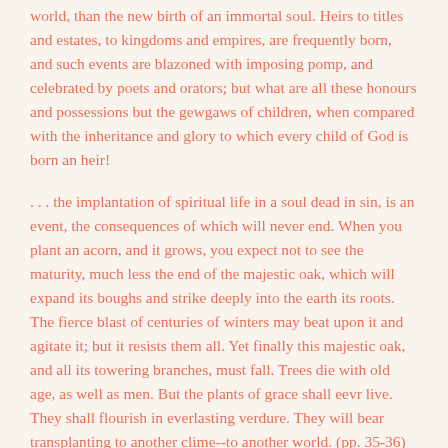world, than the new birth of an immortal soul. Heirs to titles and estates, to kingdoms and empires, are frequently born, and such events are blazoned with imposing pomp, and celebrated by poets and orators; but what are all these honours and possessions but the gewgaws of children, when compared with the inheritance and glory to which every child of God is born an heir!
. . . the implantation of spiritual life in a soul dead in sin, is an event, the consequences of which will never end. When you plant an acorn, and it grows, you expect not to see the maturity, much less the end of the majestic oak, which will expand its boughs and strike deeply into the earth its roots. The fierce blast of centuries of winters may beat upon it and agitate it; but it resists them all. Yet finally this majestic oak, and all its towering branches, must fall. Trees die with old age, as well as men. But the plants of grace shall eevr live. They shall flourish in everlasting verdure. They will bear transplanting to another clime--to another world. (pp. 35-36)